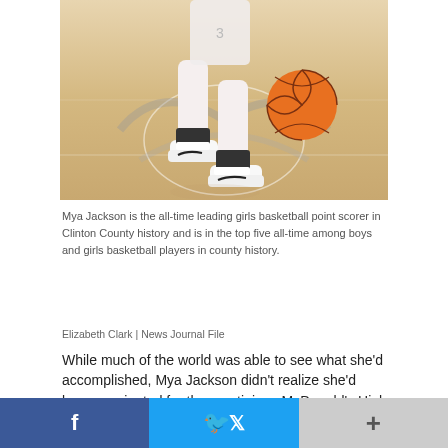[Figure (photo): Basketball player's legs and feet dribbling a basketball on an indoor hardwood court. The player is wearing white uniform, white sneakers with black Nike swoosh, and a black ankle brace. An orange basketball is visible at mid-dribble to the right.]
Mya Jackson is the all-time leading girls basketball point scorer in Clinton County history and is in the top five all-time among boys and girls basketball players in county history.
Elizabeth Clark | News Journal File
While much of the world was able to see what she'd accomplished, Mya Jackson didn't realize she'd been nominated for the prestigious McDonald's High School All-